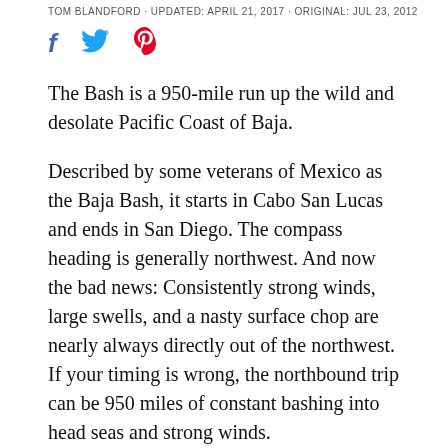TOM BLANDFORD · UPDATED: APRIL 21, 2017 · ORIGINAL: JUL 23, 2012
[Figure (infographic): Social media sharing icons: Facebook (f), Twitter (bird), Pinterest (p)]
The Bash is a 950-mile run up the wild and desolate Pacific Coast of Baja.
Described by some veterans of Mexico as the Baja Bash, it starts in Cabo San Lucas and ends in San Diego. The compass heading is generally northwest. And now the bad news: Consistently strong winds, large swells, and a nasty surface chop are nearly always directly out of the northwest. If your timing is wrong, the northbound trip can be 950 miles of constant bashing into head seas and strong winds.